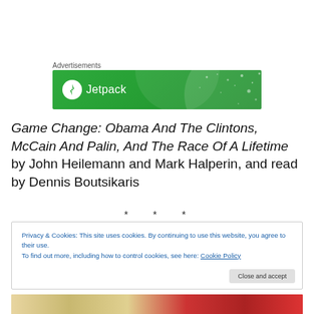Advertisements
[Figure (logo): Jetpack advertisement banner with green background, Jetpack logo with lightning bolt icon and text 'Jetpack']
Game Change: Obama And The Clintons, McCain And Palin, And The Race Of A Lifetime by John Heilemann and Mark Halperin, and read by Dennis Boutsikaris
* * *
Privacy & Cookies: This site uses cookies. By continuing to use this website, you agree to their use.
To find out more, including how to control cookies, see here: Cookie Policy
Close and accept
[Figure (photo): Partial view of books/products at bottom of page]